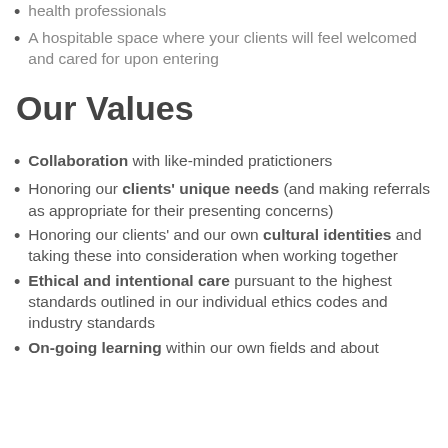health professionals
A hospitable space where your clients will feel welcomed and cared for upon entering
Our Values
Collaboration with like-minded pratictioners
Honoring our clients' unique needs (and making referrals as appropriate for their presenting concerns)
Honoring our clients' and our own cultural identities and taking these into consideration when working together
Ethical and intentional care pursuant to the highest standards outlined in our individual ethics codes and industry standards
On-going learning within our own fields and about